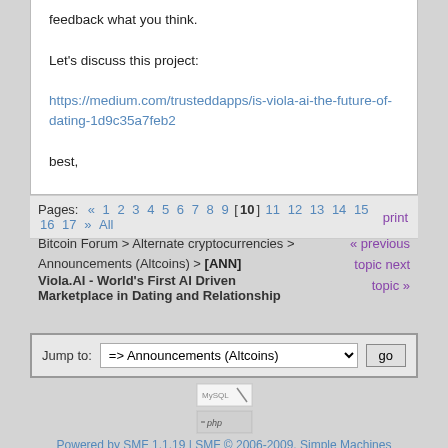feedback what you think.

Let's discuss this project:

https://medium.com/trusteddapps/is-viola-ai-the-future-of-dating-1d9c35a7feb2

best,

Stefan
Pages: « 1 2 3 4 5 6 7 8 9 [10] 11 12 13 14 15 16 17 » All    print
Bitcoin Forum > Alternate cryptocurrencies > Announcements (Altcoins) > [ANN] Viola.AI - World's First AI Driven Marketplace in Dating and Relationship
« previous topic next topic »
Jump to: => Announcements (Altcoins)   go
Powered by SMF 1.1.19 | SMF © 2006-2009, Simple Machines